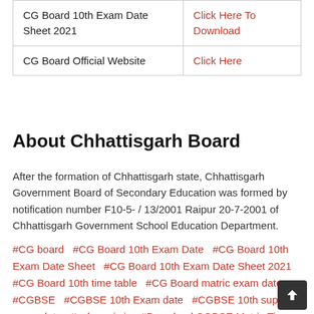|  |  |
| --- | --- |
| CG Board 10th Exam Date Sheet 2021 | Click Here To Download |
| CG Board Official Website | Click Here |
About Chhattisgarh Board
After the formation of Chhattisgarh state, Chhattisgarh Government Board of Secondary Education was formed by notification number F10-5- / 13/2001 Raipur 20-7-2001 of Chhattisgarh Government School Education Department.
#CG board  #CG Board 10th Exam Date  #CG Board 10th Exam Date Sheet  #CG Board 10th Exam Date Sheet 2021  #CG Board 10th time table  #CG Board matric exam date  #CGBSE  #CGBSE 10th Exam date  #CGBSE 10th supply exam date  #cgbse.nic.in  #Download CGBSE Matric Time Table